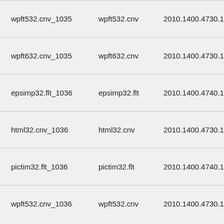| wpft532.cnv_1035 | wpft532.cnv | 2010.1400.4730.1010 | 1 |
| wpft632.cnv_1035 | wpft632.cnv | 2010.1400.4730.1010 | 2 |
| epsimp32.flt_1036 | epsimp32.flt | 2010.1400.4740.1000 | 7 |
| html32.cnv_1036 | html32.cnv | 2010.1400.4730.1010 | 4 |
| pictim32.flt_1036 | pictim32.flt | 2010.1400.4740.1000 | 8 |
| wpft532.cnv_1036 | wpft532.cnv | 2010.1400.4730.1010 | 1 |